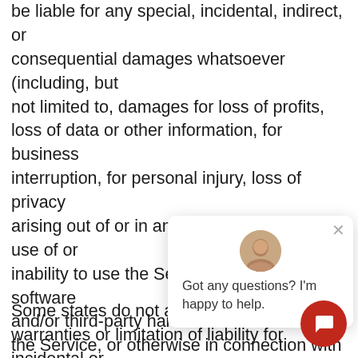be liable for any special, incidental, indirect, or consequential damages whatsoever (including, but not limited to, damages for loss of profits, loss of data or other information, for business interruption, for personal injury, loss of privacy arising out of or in any way related to the use of or inability to use the Service, third-party software and/or third-party hardware used with the Service, or otherwise in connection with any provision of this Terms), even if the Company or any supplier has been advised of the possibility of such damages and even if the remedy fails of its essential purpose.
Some states do not allow the exclusion of implied warranties or limitation of liability for incidental or consequential damages, which means that some of the above limitations may not apply. In these states, each party's liability will be limited
[Figure (other): Live chat popup with avatar photo of a man and message: 'Got any questions? I'm happy to help.' with a close button (×)]
[Figure (other): Red circular chat button in the bottom-right corner with a white speech bubble icon]